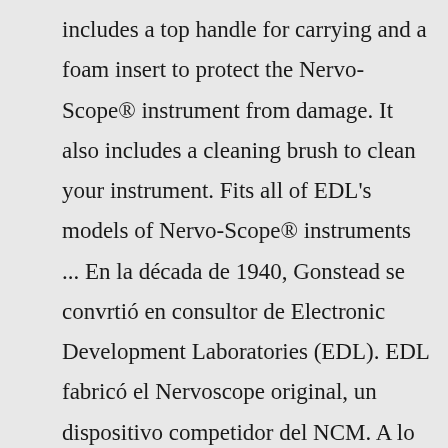includes a top handle for carrying and a foam insert to protect the Nervo-Scope® instrument from damage. It also includes a cleaning brush to clean your instrument. Fits all of EDL's models of Nervo-Scope® instruments ... En la década de 1940, Gonstead se convirtió en consultor de Electronic Development Laboratories (EDL). EDL fabricó el Nervoscope original, un dispositivo competidor del NCM. A lo